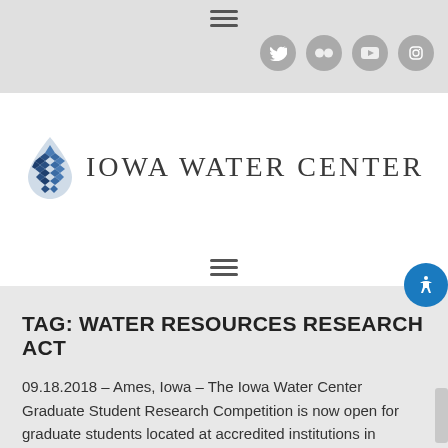[Figure (screenshot): Top navigation bar with hamburger menu icon and social media icons (Twitter, Flickr, YouTube, Instagram) on gray background]
[Figure (logo): Iowa Water Center logo with blue water drop icon and text 'IOWA WATER CENTER']
[Figure (other): Hamburger menu icon (three horizontal lines) below logo]
TAG: WATER RESOURCES RESEARCH ACT
09.18.2018 – Ames, Iowa – The Iowa Water Center Graduate Student Research Competition is now open for graduate students located at accredited institutions in